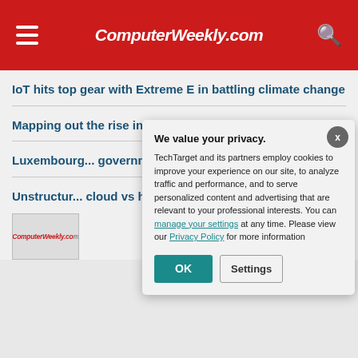ComputerWeekly.com
IoT hits top gear with Extreme E in battling climate change
Mapping out the rise in checkout-free shopping
Luxembou... governmen...
Unstructur... cloud vs hy...
[Figure (logo): ComputerWeekly.com logo thumbnail]
We value your privacy. TechTarget and its partners employ cookies to improve your experience on our site, to analyze traffic and performance, and to serve personalized content and advertising that are relevant to your professional interests. You can manage your settings at any time. Please view our Privacy Policy for more information